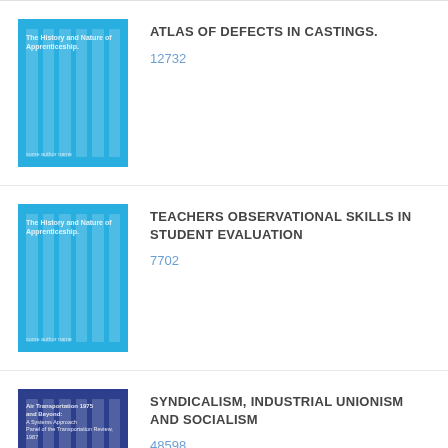[Figure (illustration): Blue book cover for Atlas of Defects in Castings]
ATLAS OF DEFECTS IN CASTINGS.
12732
[Figure (illustration): Blue book cover for Teachers Observational Skills in Student Evaluation]
TEACHERS OBSERVATIONAL SKILLS IN STUDENT EVALUATION
7702
[Figure (illustration): Navy blue book cover for Syndicalism, Industrial Unionism and Socialism]
SYNDICALISM, INDUSTRIAL UNIONISM AND SOCIALISM
48598
Contact us   DMCA   Terms and Privacy